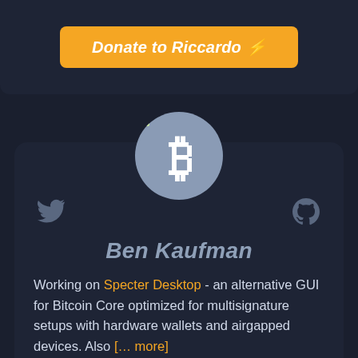Donate to Riccardo ⚡
[Figure (logo): Bitcoin logo avatar circle with white Bitcoin B symbol on gray background]
[Figure (logo): Twitter bird icon in gray]
[Figure (logo): GitHub octocat icon in gray]
Ben Kaufman
Working on Specter Desktop - an alternative GUI for Bitcoin Core optimized for multisignature setups with hardware wallets and airgapped devices. Also [… more]
Specter